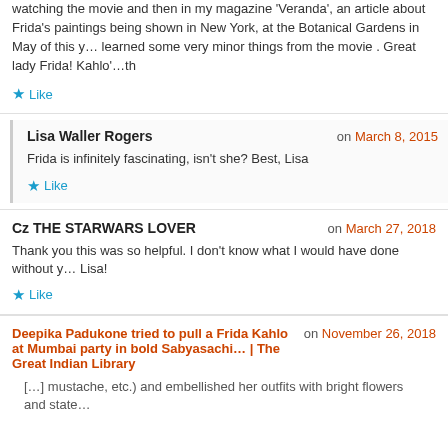watching the movie and then in my magazine 'Veranda', an article about Frida's paintings being shown in New York, at the Botanical Gardens in May of this y… learned some very minor things from the movie . Great lady Frida! Kahlo'…th
Like
Lisa Waller Rogers — on March 8, 2015
Frida is infinitely fascinating, isn't she? Best, Lisa
Like
Cz THE STARWARS LOVER — on March 27, 2018
Thank you this was so helpful. I don't know what I would have done without y… Lisa!
Like
Deepika Padukone tried to pull a Frida Kahlo at Mumbai party in bold Sabyasachi… | The Great Indian Library — on November 26, 2018
[…] mustache, etc.) and embellished her outfits with bright flowers and state…